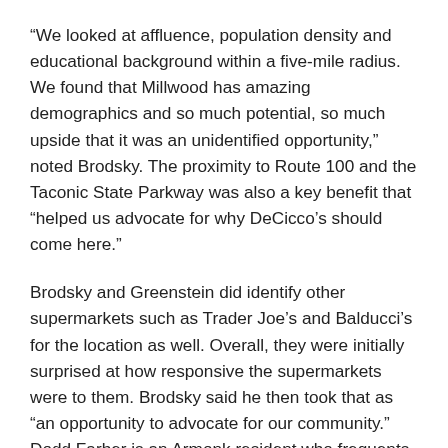“We looked at affluence, population density and educational background within a five-mile radius. We found that Millwood has amazing demographics and so much potential, so much upside that it was an unidentified opportunity,” noted Brodsky. The proximity to Route 100 and the Taconic State Parkway was also a key benefit that “helped us advocate for why DeCicco’s should come here.”
Brodsky and Greenstein did identify other supermarkets such as Trader Joe’s and Balducci’s for the location as well. Overall, they were initially surprised at how responsive the supermarkets were to them. Brodsky said he then took that as “an opportunity to advocate for our community.” Dodd Farber is an Armonk resident who frequents the Armonk DeCicco’s. He approached the DeCicco